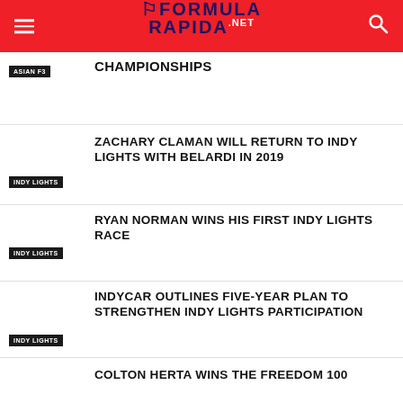Formula Rapida .net
CHAMPIONSHIPS
ASIAN F3
ZACHARY CLAMAN WILL RETURN TO INDY LIGHTS WITH BELARDI IN 2019
INDY LIGHTS
RYAN NORMAN WINS HIS FIRST INDY LIGHTS RACE
INDY LIGHTS
INDYCAR OUTLINES FIVE-YEAR PLAN TO STRENGTHEN INDY LIGHTS PARTICIPATION
INDY LIGHTS
COLTON HERTA WINS THE FREEDOM 100
INDY LIGHTS